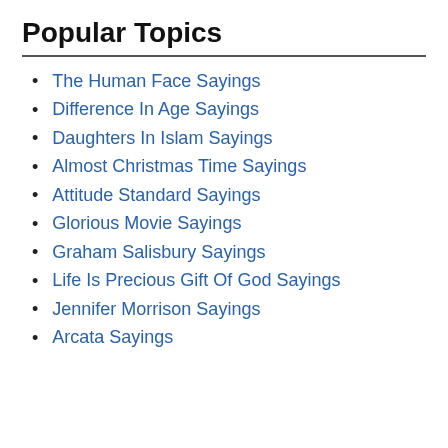Popular Topics
The Human Face Sayings
Difference In Age Sayings
Daughters In Islam Sayings
Almost Christmas Time Sayings
Attitude Standard Sayings
Glorious Movie Sayings
Graham Salisbury Sayings
Life Is Precious Gift Of God Sayings
Jennifer Morrison Sayings
Arcata Sayings